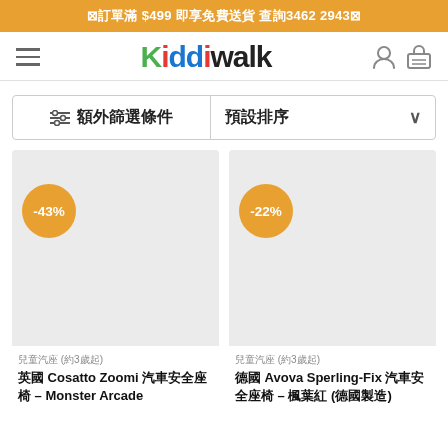⊠訂單滿 $499 即享免費送貨 查詢3462 2943⊠
[Figure (screenshot): Kiddiwalk store navigation bar with hamburger menu, colorful logo, user icon and cart icon]
≡  額外篩選條件   預設排序 ∨
[Figure (screenshot): Product card: 英國 Cosatto Zoomi 汽車安全座椅 – Monster Arcade, -43% discount badge, light grey product image area, category: 兒童汽座 (約3歲起)]
[Figure (screenshot): Product card: 德國 Avova Sperling-Fix 汽車安全座椅 – 楓葉紅 (德國製造), -22% discount badge, light grey product image area, category: 兒童汽座 (約3歲起)]
兒童汽座 (約3歲起)
英國 Cosatto Zoomi 汽車安全座椅 – Monster Arcade
兒童汽座 (約3歲起)
德國 Avova Sperling-Fix 汽車安全座椅 – 楓葉紅 (德國製造)